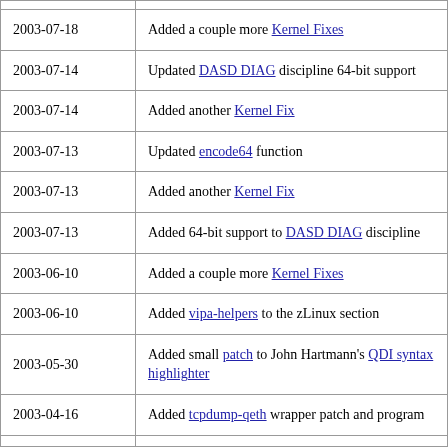| Date | Description |
| --- | --- |
| 2003-07-18 | Added a couple more Kernel Fixes |
| 2003-07-14 | Updated DASD DIAG discipline 64-bit support |
| 2003-07-14 | Added another Kernel Fix |
| 2003-07-13 | Updated encode64 function |
| 2003-07-13 | Added another Kernel Fix |
| 2003-07-13 | Added 64-bit support to DASD DIAG discipline |
| 2003-06-10 | Added a couple more Kernel Fixes |
| 2003-06-10 | Added vipa-helpers to the zLinux section |
| 2003-05-30 | Added small patch to John Hartmann's QDI syntax highlighter |
| 2003-04-16 | Added tcpdump-qeth wrapper patch and program |